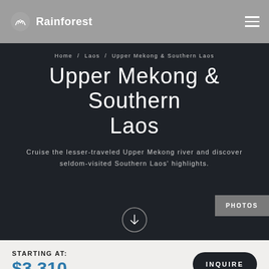Rainforest
Home / Laos / Upper Mekong & Southern Laos
Upper Mekong & Southern Laos
Cruise the lesser-traveled Upper Mekong river and discover seldom-visited Southern Laos' highlights.
PHOTOS
STARTING AT:
$3,310 / PERSON
Customizable private tour with flexible start date
INQUIRE
14 DAYS / 13 NIGHTS